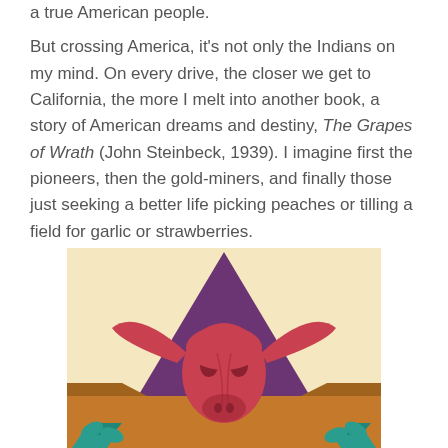a true American people. But crossing America, it's not only the Indians on my mind. On every drive, the closer we get to California, the more I melt into another book, a story of American dreams and destiny, The Grapes of Wrath (John Steinbeck, 1939). I imagine first the pioneers, then the gold-miners, and finally those just seeking a better life picking peaches or tilling a field for garlic or strawberries.
[Figure (illustration): Stylized illustration of a bull skull (pink/red) centered over a large purple triangle, set against a cream/tan sky background with orange-brown desert landscape at the bottom. Teal/turquoise decorative elements visible at the bottom corners.]